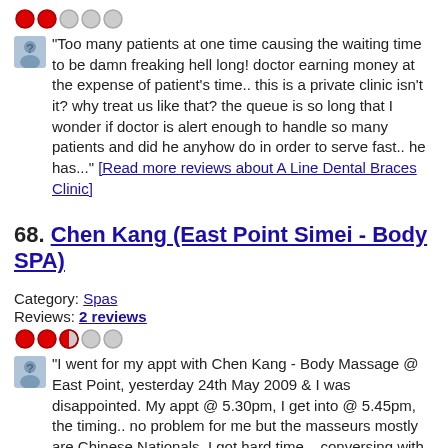[Figure (other): 2-star rating shown as two red filled circles and two gray empty circles]
"Too many patients at one time causing the waiting time to be damn freaking hell long! doctor earning money at the expense of patient's time.. this is a private clinic isn't it? why treat us like that? the queue is so long that I wonder if doctor is alert enough to handle so many patients and did he anyhow do in order to serve fast.. he has..." [Read more reviews about A Line Dental Braces Clinic]
68. Chen Kang (East Point Simei - Body SPA)
Category: Spas
Reviews: 2 reviews
[Figure (other): 2.5-star rating shown as two red filled circles, one half-filled circle, and two gray empty circles]
"I went for my appt with Chen Kang - Body Massage @ East Point, yesterday 24th May 2009 & I was disappointed. My appt @ 5.30pm, I get into @ 5.45pm, the timing.. no problem for me but the masseurs mostly are Chinese Nationals, I got hard time... conversing with them. This masseur (Aiko) who attended to me, was good, though she apply much pres..." [Read more reviews about Chen Kang (East Point Simei - Body SPA)]
69. My Cozy Room Boutique